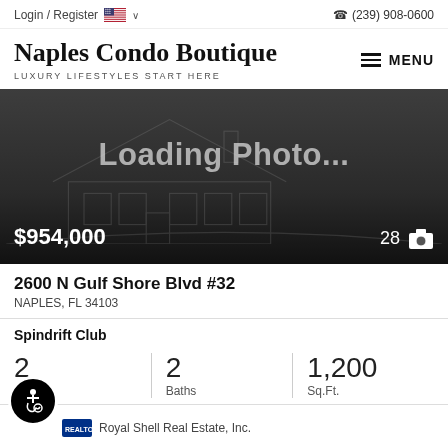Login / Register   🇺🇸 ∨   ☎ (239) 908-0600
Naples Condo Boutique
LUXURY LIFESTYLES START HERE
[Figure (screenshot): Loading photo placeholder showing a dark grey background with a faint wireframe house illustration and the text 'Loading Photo...' displayed prominently. Price $954,000 shown in bottom left, and 28 photos icon in bottom right.]
2600 N Gulf Shore Blvd #32
NAPLES, FL 34103
Spindrift Club
2  2 Baths  1,200 Sq.Ft.
Royal Shell Real Estate, Inc.